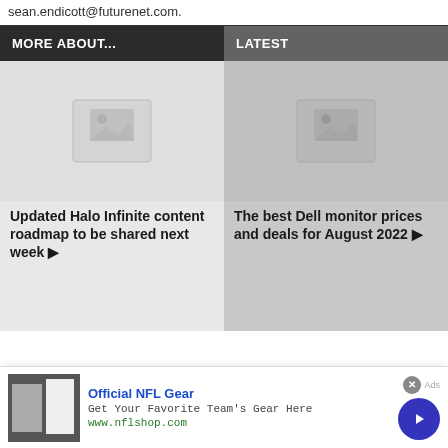sean.endicott@futurenet.com.
MORE ABOUT...
LATEST
[Figure (illustration): Placeholder image thumbnail for Halo Infinite article]
Updated Halo Infinite content roadmap to be shared next week ▶
[Figure (illustration): Placeholder image thumbnail for Dell monitor article]
The best Dell monitor prices and deals for August 2022 ▶
[Figure (photo): Advertisement: Official NFL Gear - Get Your Favorite Team's Gear Here - www.nflshop.com]